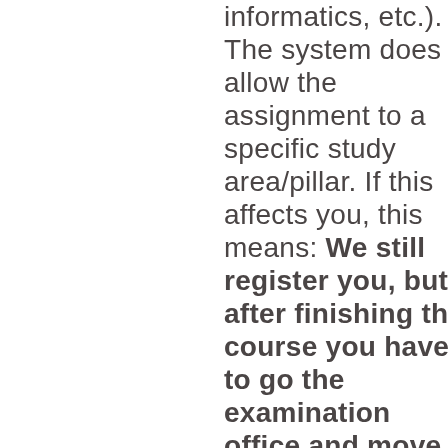informatics, etc.). The system does not allow the assignment to a specific study area/pillar. If this affects you, this means: We still register you, but after finishing the course you have to go the examination office and move